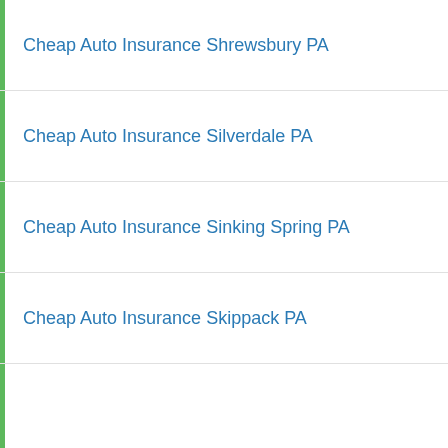Cheap Auto Insurance Shrewsbury PA
Cheap Auto Insurance Silverdale PA
Cheap Auto Insurance Sinking Spring PA
Cheap Auto Insurance Skippack PA